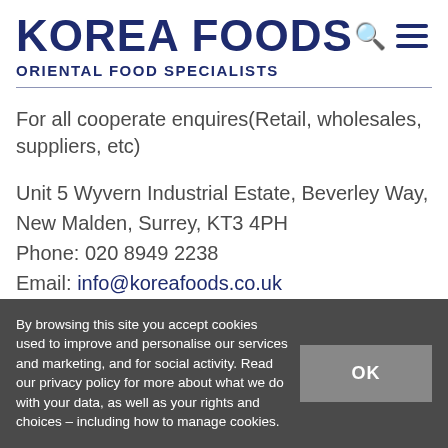KOREA FOODS — ORIENTAL FOOD SPECIALISTS
For all cooperate enquires(Retail, wholesales, suppliers, etc)
Unit 5 Wyvern Industrial Estate, Beverley Way, New Malden, Surrey, KT3 4PH
Phone: 020 8949 2238
Email: info@koreafoods.co.uk
By browsing this site you accept cookies used to improve and personalise our services and marketing, and for social activity. Read our privacy policy for more about what we do with your data, as well as your rights and choices – including how to manage cookies.